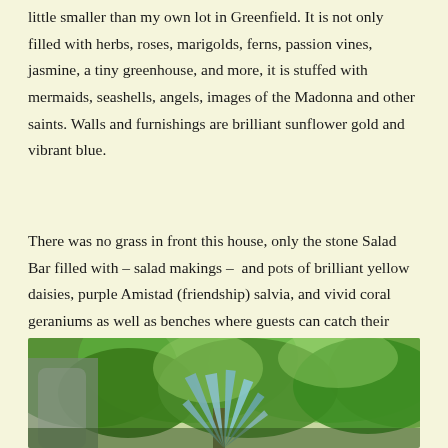little smaller than my own lot in Greenfield. It is not only filled with herbs, roses, marigolds, ferns, passion vines, jasmine, a tiny greenhouse, and more, it is stuffed with mermaids, seashells, angels, images of the Madonna and other saints. Walls and furnishings are brilliant sunflower gold and vibrant blue.
There was no grass in front this house, only the stone Salad Bar filled with – salad makings –  and pots of brilliant yellow daisies, purple Amistad (friendship) salvia, and vivid coral geraniums as well as benches where guests can catch their breath and enjoy this front garden in the shade of a kumquat tree.
[Figure (photo): Photograph of a lush garden with dense green foliage, trees overhead, and what appears to be a large agave or similar spiky plant in the foreground center, with a structure visible on the left side.]